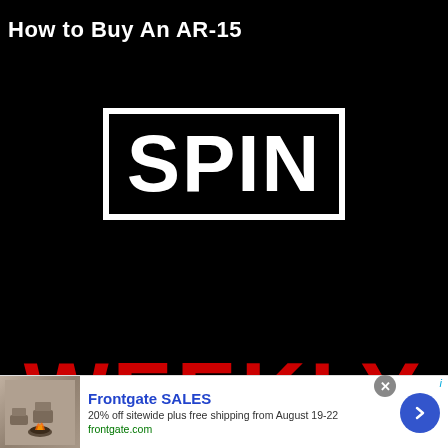How to Buy An AR-15
[Figure (logo): SPIN Weekly logo on black background. Large white rectangle border containing the word SPIN in large bold white letters. Below in large red bold letters: WEEKLY (partially cut off).]
Frontgate SALES
20% off sitewide plus free shipping from August 19-22
frontgate.com